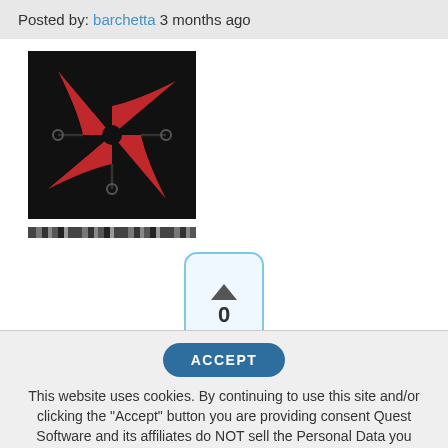Posted by: barchetta 3 months ago
[Figure (logo): Red and black logo with geometric shapes resembling ninja stars with circuit-like connectors on black background, with a barcode-style strip below]
[Figure (other): Vote widget: up arrow, 0, down arrow in a rounded rectangle with blue border]
I would recreate the schedule from scratch.  Dont duplicate it, create a new one and see if you have the issue. Im
ACCEPT
This website uses cookies. By continuing to use this site and/or clicking the "Accept" button you are providing consent Quest Software and its affiliates do NOT sell the Personal Data you provide to us either when you register on our websites or